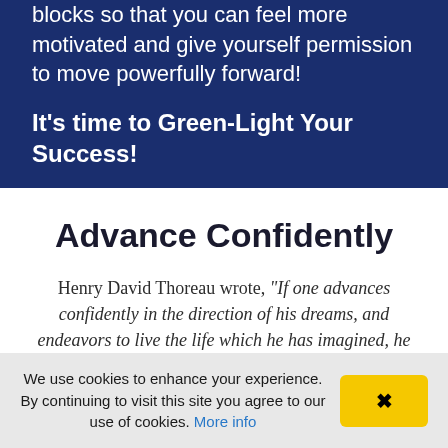blocks so that you can feel more motivated and give yourself permission to move powerfully forward!
It's time to Green-Light Your Success!
Advance Confidently
Henry David Thoreau wrote, "If one advances confidently in the direction of his dreams, and endeavors to live the life which he has imagined, he will meet
We use cookies to enhance your experience. By continuing to visit this site you agree to our use of cookies. More info